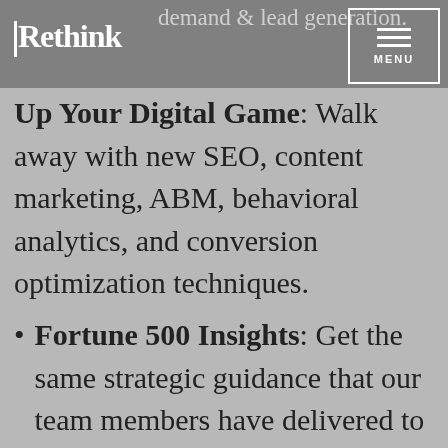Rethink — MENU
neuromarketing, and demand & lead generation.
Up Your Digital Game: Walk away with new SEO, content marketing, ABM, behavioral analytics, and conversion optimization techniques.
Fortune 500 Insights: Get the same strategic guidance that our team members have delivered to companies such as AT&T, Intel, Hewlett-